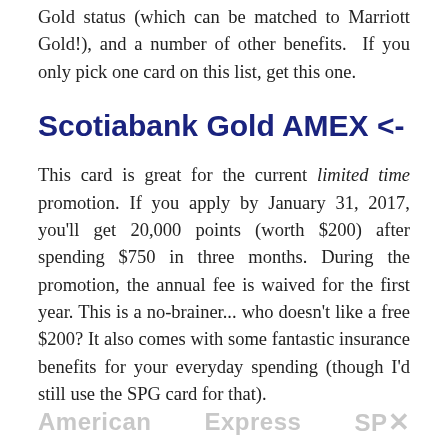Gold status (which can be matched to Marriott Gold!), and a number of other benefits. If you only pick one card on this list, get this one.
Scotiabank Gold AMEX <-
This card is great for the current limited time promotion. If you apply by January 31, 2017, you'll get 20,000 points (worth $200) after spending $750 in three months. During the promotion, the annual fee is waived for the first year. This is a no-brainer... who doesn't like a free $200? It also comes with some fantastic insurance benefits for your everyday spending (though I'd still use the SPG card for that).
[Figure (other): Partial advertisement banner showing 'American Express SPG' text in light gray with a close (X) button, partially cut off at the bottom of the page.]